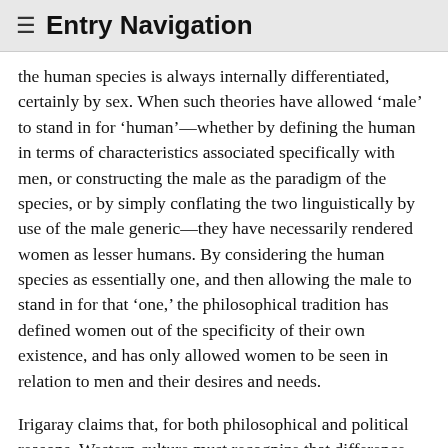≡ Entry Navigation
the human species is always internally differentiated, certainly by sex. When such theories have allowed 'male' to stand in for 'human'—whether by defining the human in terms of characteristics associated specifically with men, or constructing the male as the paradigm of the species, or by simply conflating the two linguistically by use of the male generic—they have necessarily rendered women as lesser humans. By considering the human species as essentially one, and then allowing the male to stand in for that 'one,' the philosophical tradition has defined women out of the specificity of their own existence, and has only allowed women to be seen in relation to men and their desires and needs.
Irigaray claims that, for both philosophical and political reasons, Western culture must recognize that difference lies at the very foundation of the human species and experience. The human species, she says, is 'at least' two (1996, 37). Her point here is that, trapped as Western culture and thought is within a male-centered